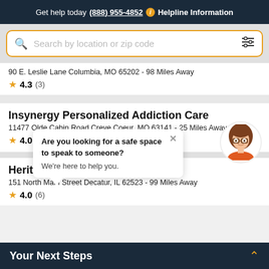Get help today (888) 955-4852 i Helpline Information
[Figure (screenshot): Search bar with placeholder text 'Search by location or zip code' with a filter icon, styled with a gold/amber border]
90 E. Leslie Lane Columbia, MO 65202 - 98 Miles Away
★ 4.3 (3)
Insynergy Personalized Addiction Care
11477 Olde Cabin Road Creve Coeur, MO 63141 - 25 Miles Away
★ 4.0 (1)
Are you looking for a safe space to speak to someone? We're here to help you.
Heritage Behavioral Health Center
151 North Main Street Decatur, IL 62523 - 99 Miles Away
★ 4.0 (6)
Your Next Steps